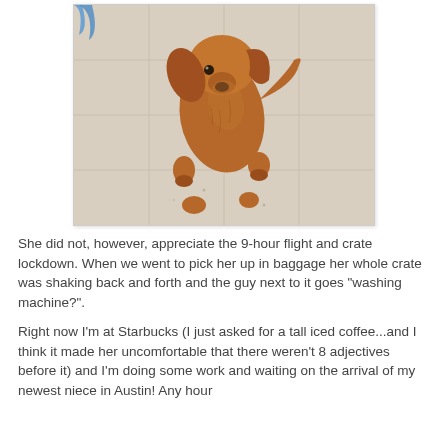[Figure (photo): A brown/golden dog (appears to be a young Cocker Spaniel or similar breed) photographed from above, standing on a light-colored tile floor. A blue plastic bag is visible in the upper left corner.]
She did not, however, appreciate the 9-hour flight and crate lockdown.  When we went to pick her up in baggage her whole crate was shaking back and forth and the guy next to it goes "washing machine?".
Right now I'm at Starbucks (I just asked for a tall iced coffee...and I think it made her uncomfortable that there weren't 8 adjectives before it) and I'm doing some work and waiting on the arrival of my newest niece in Austin!  Any hour